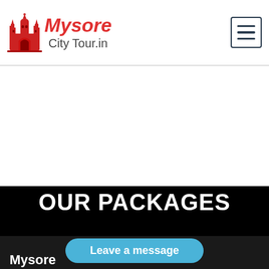Mysore City Tour.in
OUR PACKAGES
Leave a message
Mysore